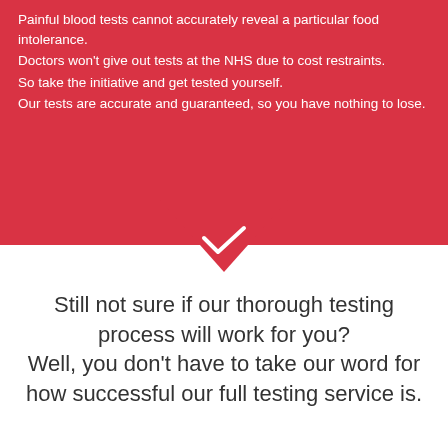Painful blood tests cannot accurately reveal a particular food intolerance.
Doctors won't give out tests at the NHS due to cost restraints.
So take the initiative and get tested yourself.
Our tests are accurate and guaranteed, so you have nothing to lose.
[Figure (illustration): A downward-pointing chevron/arrow shape in red with a white chevron/check symbol inside, serving as a decorative divider between the red section and white section.]
Still not sure if our thorough testing process will work for you? Well, you don't have to take our word for how successful our full testing service is.